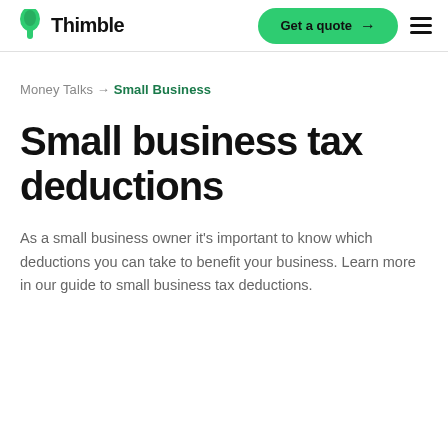Thimble | Get a quote
Money Talks → Small Business
Small business tax deductions
As a small business owner it's important to know which deductions you can take to benefit your business. Learn more in our guide to small business tax deductions.